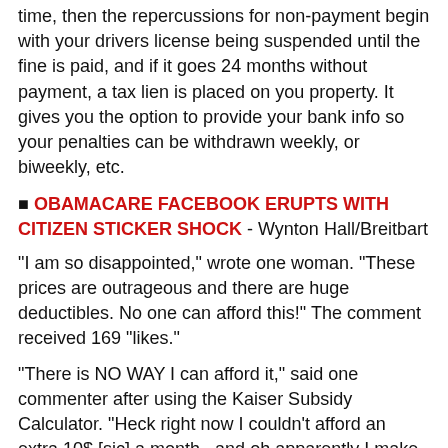time, then the repercussions for non-payment begin with your drivers license being suspended until the fine is paid, and if it goes 24 months without payment, a tax lien is placed on you property. It gives you the option to provide your bank info so your penalties can be withdrawn weekly, or biweekly, etc.
■ OBAMACARE FACEBOOK ERUPTS WITH CITIZEN STICKER SHOCK - Wynton Hall/Breitbart
"I am so disappointed," wrote one woman. "These prices are outrageous and there are huge deductibles. No one can afford this!" The comment received 169 "likes."
"There is NO WAY I can afford it," said one commenter after using the Kaiser Subsidy Calculator. "Heck right now I couldn't afford an extra 10$ [sic] a month...and oh apparently I make to [sic] much at 8.55/hour to get subsidies."
...A single mother of two said she is in school and working full-time while living "75% below the poverty level." She said she was shocked to learn she did not qualify for a healthcare